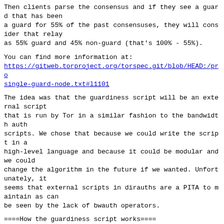Then clients parse the consensus and if they see a guard that has been
a guard for 55% of the past consensuses, they will consider that relay
as 55% guard and 45% non-guard (that's 100% - 55%).
You can find more information at:
https://gitweb.torproject.org/torspec.git/blob/HEAD:/prop-single-guard-node.txt#l1101
The idea was that the guardiness script will be an external script
that is run by Tor in a similar fashion to the bandwidth auth
scripts. We chose that because we could write the script in a
high-level language and because it could be modular and we could
change the algorithm in the future if we wanted. Unfortunately, it
seems that external scripts in dirauths are a PITA to maintain as can
be seen by the lack of bwauth operators.
====How the guardiness script works====
The guardiness script, is supposed to parse 2-3 months worth of
consensuses (but should also be to do the same for 9 months worth of
consensuses...)